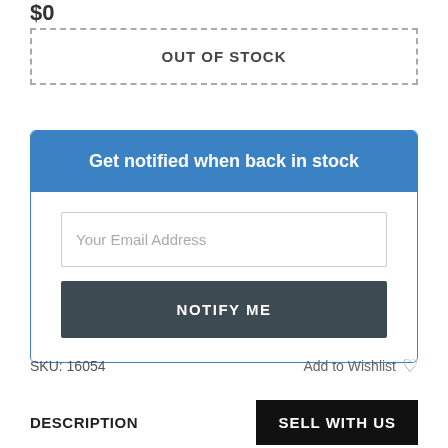$0
OUT OF STOCK
Get notified when back in stock
Your Email Address
NOTIFY ME
SKU: 16054
Add to Wishlist ♡
DESCRIPTION
SELL WITH US